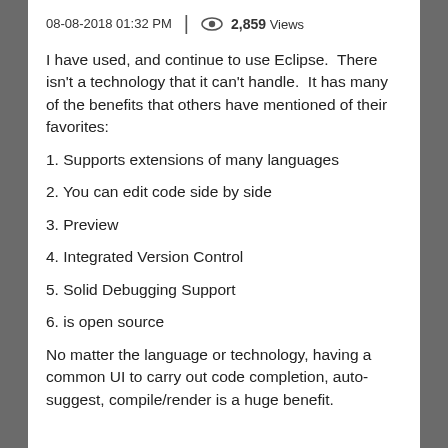08-08-2018 01:32 PM  |  2,859 Views
I have used, and continue to use Eclipse.  There isn't a technology that it can't handle.  It has many of the benefits that others have mentioned of their favorites:
1. Supports extensions of many languages
2. You can edit code side by side
3. Preview
4. Integrated Version Control
5. Solid Debugging Support
6. is open source
No matter the language or technology, having a common UI to carry out code completion, auto-suggest, compile/render is a huge benefit.